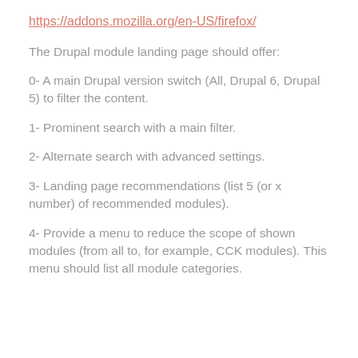https://addons.mozilla.org/en-US/firefox/
The Drupal module landing page should offer:
0- A main Drupal version switch (All, Drupal 6, Drupal 5) to filter the content.
1- Prominent search with a main filter.
2- Alternate search with advanced settings.
3- Landing page recommendations (list 5 (or x number) of recommended modules).
4- Provide a menu to reduce the scope of shown modules (from all to, for example, CCK modules). This menu should list all module categories.